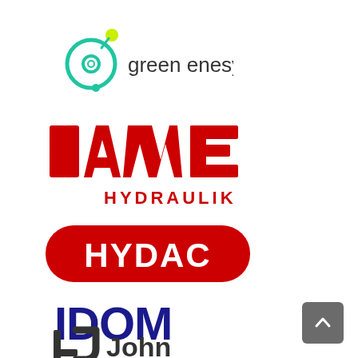[Figure (logo): Green Enesys logo: teal/green molecular icon with yellow-green dot and blue dot, text 'green enesys' in dark gray sans-serif]
[Figure (logo): HAWE Hydraulik logo: bold red block letters 'HAWE' with 'HYDRAULIK' below in red]
[Figure (logo): HYDAC logo: white bold letters 'HYDAC' on red rounded rectangle/pill background]
[Figure (logo): IDOM logo: bold dark navy/blue letters 'IDOM']
[Figure (logo): John Deere logo: partial view showing stylized 'J' bracket icon and text 'John' in dark gray/black]